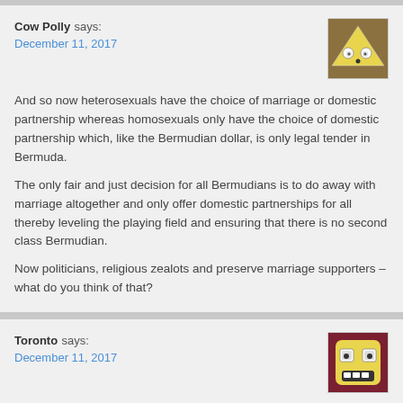Cow Polly says:
December 11, 2017

And so now heterosexuals have the choice of marriage or domestic partnership whereas homosexuals only have the choice of domestic partnership which, like the Bermudian dollar, is only legal tender in Bermuda.

The only fair and just decision for all Bermudians is to do away with marriage altogether and only offer domestic partnerships for all thereby leveling the playing field and ensuring that there is no second class Bermudian.

Now politicians, religious zealots and preserve marriage supporters – what do you think of that?
[Figure (illustration): Avatar icon: yellow triangle face with wide eyes and open mouth on brown background]
Toronto says:
December 11, 2017

It's all good.
I domestic partnered my mate here in Toronto.
Uas going down next month to work for the winter.
[Figure (illustration): Avatar icon: yellow square face with wide eyes and open grinning mouth showing teeth on dark red/brown background]